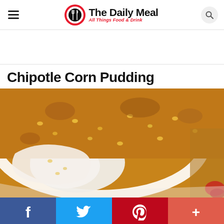The Daily Meal — All Things Food & Drink
Chipotle Corn Pudding
[Figure (photo): Close-up photo of chipotle corn pudding in a white baking dish, with a portion scooped out revealing the creamy interior with corn kernels, golden-brown crust on top]
Social share bar: Facebook, Twitter, Pinterest, More